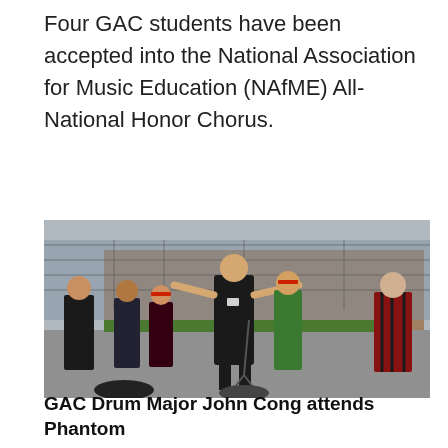Four GAC students have been accepted into the National Association for Music Education (NAfME) All-National Honor Chorus.
[Figure (photo): A young man in a black sleeveless shirt and black shorts stands with arms outstretched on a parking lot, appearing to conduct or instruct a group of students standing behind him. A chain-link fence and brick building are visible in the background.]
GAC Drum Major John Cong attends Phantom